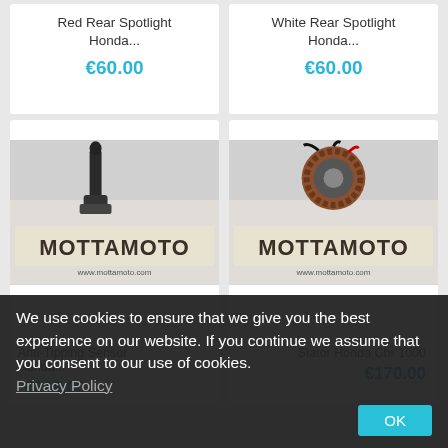Red Rear Spotlight Honda...
€60.00
White Rear Spotlight Honda...
€60.00
[Figure (photo): Motorcycle anti-tipping sensor part with MOTTAMOTO branding, left product card]
Anti-Tipping Sensor Honda...
€100.00
[Figure (photo): Stator Honda CBR 1000 motorcycle part with MOTTAMOTO branding, right product card]
Stator Honda Cbr 1000
€170.00
We use cookies to ensure that we give you the best experience on our website. If you continue we assume that you consent to our use of cookies. Privacy Policy